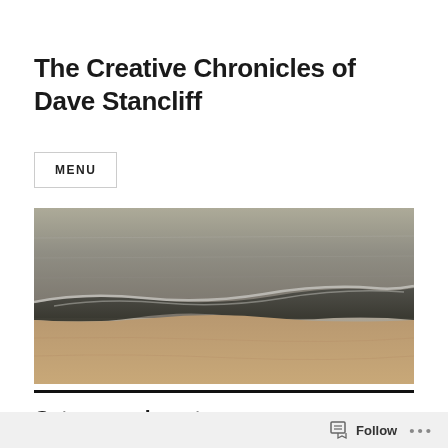The Creative Chronicles of Dave Stancliff
MENU
[Figure (photo): A beach scene showing ocean waves meeting a sandy shore, photographed in muted warm tones with soft light.]
Category: desert
Follow ...